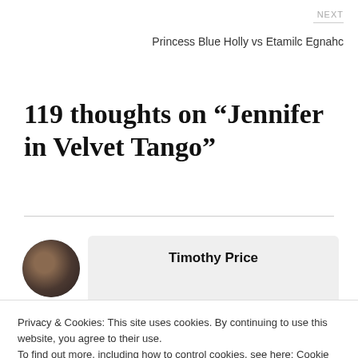NEXT
Princess Blue Holly vs Etamilc Egnahc
119 thoughts on “Jennifer in Velvet Tango”
Timothy Price
Privacy & Cookies: This site uses cookies. By continuing to use this website, you agree to their use.
To find out more, including how to control cookies, see here: Cookie Policy
Close and accept
her. I noticed an accordion